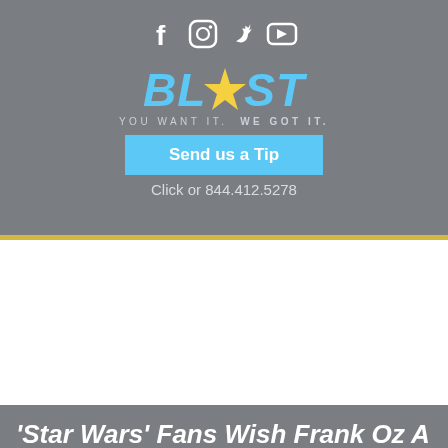[Figure (logo): Social media icons: Facebook, Instagram, Twitter, YouTube in white]
[Figure (logo): BLAST logo in blue with yellow star, tagline YOU WANT IT. WE GOT IT.]
Send us a Tip
Click or 844.412.5278
'Star Wars' Fans Wish Frank Oz A Happy 78th Birthday!
Home / Star Wars / 'Star Wars' Fans Wish Frank Oz A